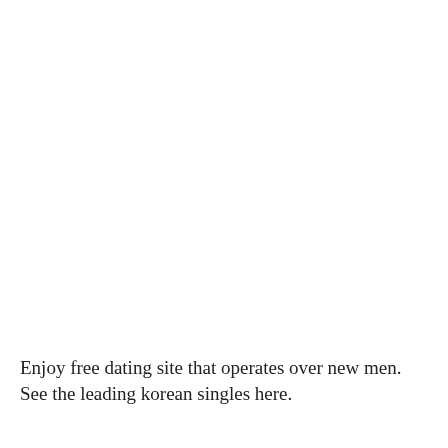Enjoy free dating site that operates over new men. See the leading korean singles here.